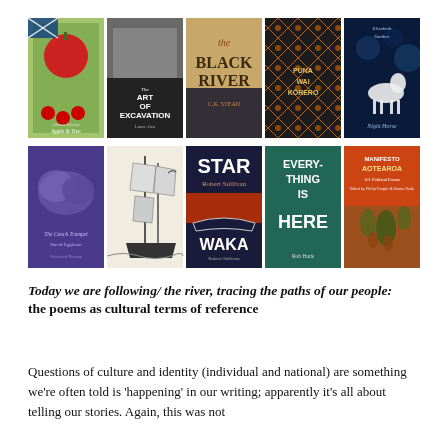[Figure (illustration): A collage of 10 book covers arranged in two rows of 5. Top row includes: Apple & Tree (red apple illustration), The Art of Excavation by Liam Airu, The Black River by C.K. Stead, Puna Wai Korero (patterned Maori design), Night Horse by Elizabeth Smither (blue cover with white horse). Bottom row includes: The Conch Trumpet by David Eggleton (purple abstract), a ship illustration book, Star Waka by Robert Sullivan (dark cover with waka/star), Everything Is Here by Rob Hack (teal/green text), Manifesto Aotearoa: 101 Political Poems (orange cover with jungle illustration).]
Today we are following/ the river, tracing the paths of our people: the poems as cultural terms of reference
Questions of culture and identity (individual and national) are something we're often told is 'happening' in our writing; apparently it's all about telling our stories. Again, this was not